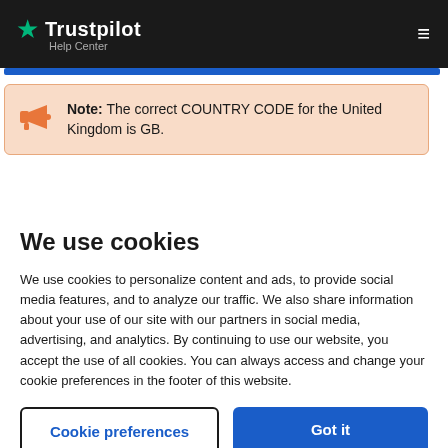Trustpilot Help Center
Note: The correct COUNTRY CODE for the United Kingdom is GB.
We use cookies
We use cookies to personalize content and ads, to provide social media features, and to analyze our traffic. We also share information about your use of our site with our partners in social media, advertising, and analytics. By continuing to use our website, you accept the use of all cookies. You can always access and change your cookie preferences in the footer of this website.
Cookie preferences
Got it